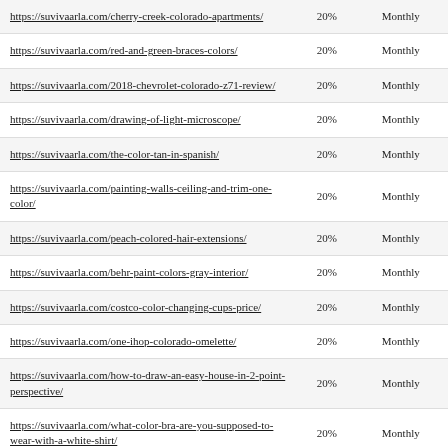| https://suvivaarla.com/cherry-creek-colorado-apartments/ | 20% | Monthly |
| https://suvivaarla.com/red-and-green-braces-colors/ | 20% | Monthly |
| https://suvivaarla.com/2018-chevrolet-colorado-z71-review/ | 20% | Monthly |
| https://suvivaarla.com/drawing-of-light-microscope/ | 20% | Monthly |
| https://suvivaarla.com/the-color-tan-in-spanish/ | 20% | Monthly |
| https://suvivaarla.com/painting-walls-ceiling-and-trim-one-color/ | 20% | Monthly |
| https://suvivaarla.com/peach-colored-hair-extensions/ | 20% | Monthly |
| https://suvivaarla.com/behr-paint-colors-gray-interior/ | 20% | Monthly |
| https://suvivaarla.com/costco-color-changing-cups-price/ | 20% | Monthly |
| https://suvivaarla.com/one-ihop-colorado-omelette/ | 20% | Monthly |
| https://suvivaarla.com/how-to-draw-an-easy-house-in-2-point-perspective/ | 20% | Monthly |
| https://suvivaarla.com/what-color-bra-are-you-supposed-to-wear-with-a-white-shirt/ | 20% | Monthly |